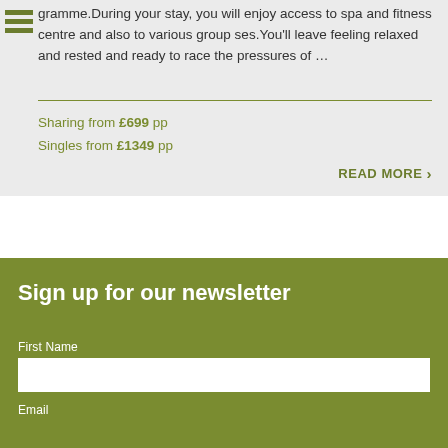programme.During your stay, you will enjoy access to spa and fitness centre and also to various group ses.You'll leave feeling relaxed and rested and ready to race the pressures of ...
Sharing from £699 pp
Singles from £1349 pp
READ MORE
Sign up for our newsletter
First Name
Email